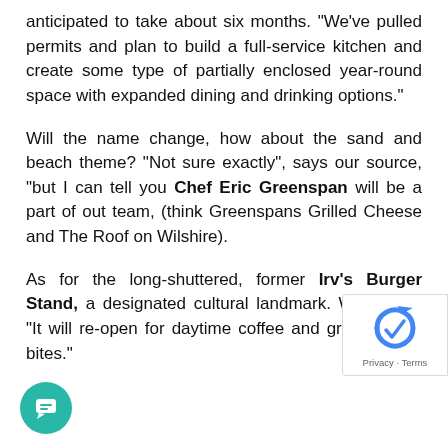anticipated to take about six months. “We’ve pulled permits and plan to build a full-service kitchen and create some type of partially enclosed year-round space with expanded dining and drinking options.”
Will the name change, how about the sand and beach theme? “Not sure exactly”, says our source, “but I can tell you Chef Eric Greenspan will be a part of out team, (think Greenspans Grilled Cheese and The Roof on Wilshire).
As for the long-shuttered, former Irv’s Burger Stand, a designated cultural landmark. We’re told: “It will re-open for daytime coffee and grab and go bites.”
[Figure (logo): Google reCAPTCHA badge with privacy and terms links]
[Figure (illustration): Teal circular chat/message button with speech bubble icon]